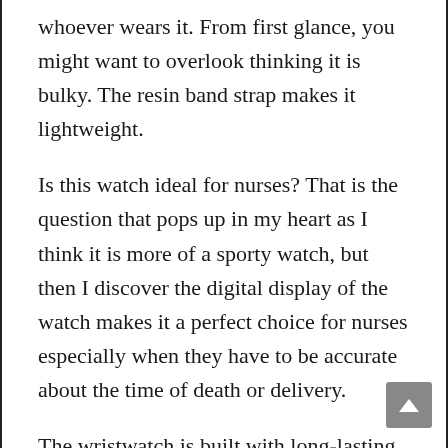whoever wears it. From first glance, you might want to overlook thinking it is bulky. The resin band strap makes it lightweight.
Is this watch ideal for nurses? That is the question that pops up in my heart as I think it is more of a sporty watch, but then I discover the digital display of the watch makes it a perfect choice for nurses especially when they have to be accurate about the time of death or delivery.
The wristwatch is built with long-lasting materials. It has shock resistance and can withstand any pressure or rigor that comes with